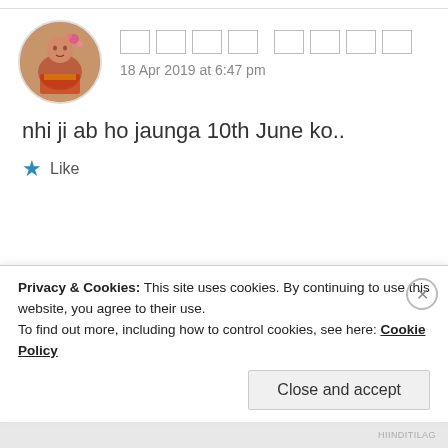[Figure (photo): Circular avatar image of a woman in traditional Indian bridal attire with flowers in her hair]
□□□□ □□□□
18 Apr 2019 at 6:47 pm
nhi ji ab ho jaunga 10th June ko..
★ Like
[Figure (photo): Circular avatar image of a woman with dark hair against a dark background]
ZEALOUS HOMO SAPIENS
18 Apr 2019 at 6:51 pm
Privacy & Cookies: This site uses cookies. By continuing to use this website, you agree to their use.
To find out more, including how to control cookies, see here: Cookie Policy
Close and accept
HIINDITILAG